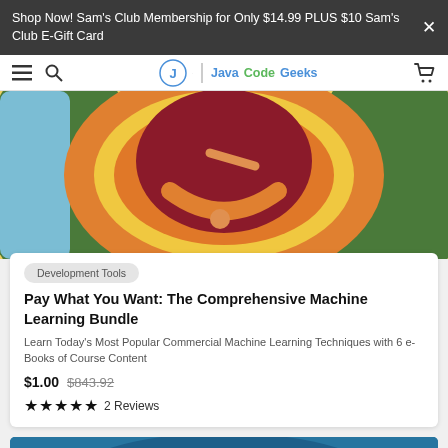Shop Now! Sam's Club Membership for Only $14.99 PLUS $10 Sam's Club E-Gift Card
[Figure (screenshot): Java Code Geeks website navigation bar with hamburger menu, search icon, logo, and cart icon]
[Figure (illustration): Colorful abstract book cover art with dark red, orange, yellow, and green curved shapes on a light background]
Development Tools
Pay What You Want: The Comprehensive Machine Learning Bundle
Learn Today's Most Popular Commercial Machine Learning Techniques with 6 e-Books of Course Content
$1.00  $843.92
★★★★★  2 Reviews